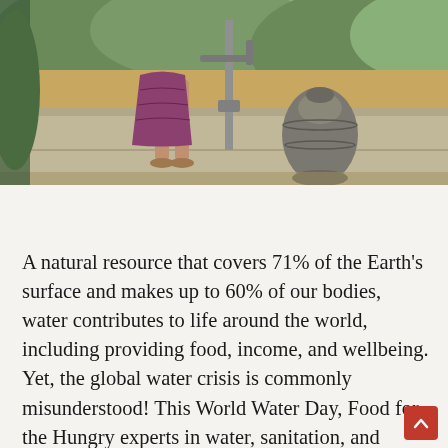[Figure (photo): A person standing barefoot near a water pump with a decorative pot/vessel beside it, outdoors on a concrete platform with vegetation in the background.]
A natural resource that covers 71% of the Earth's surface and makes up to 60% of our bodies, water contributes to life around the world, including providing food, income, and wellbeing. Yet, the global water crisis is commonly misunderstood! This World Water Day, Food for the Hungry experts in water, sanitation, and health (WASH) have joined together to help you dispel some common myths about clean water, and give you a better understanding of the work we do with water around the world.